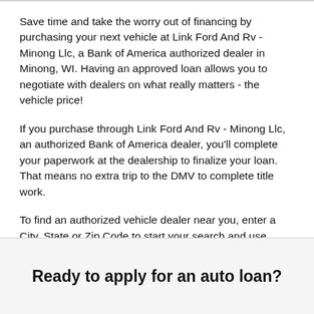Save time and take the worry out of financing by purchasing your next vehicle at Link Ford And Rv - Minong Llc, a Bank of America authorized dealer in Minong, WI. Having an approved loan allows you to negotiate with dealers on what really matters - the vehicle price!
If you purchase through Link Ford And Rv - Minong Llc, an authorized Bank of America dealer, you'll complete your paperwork at the dealership to finalize your loan. That means no extra trip to the DMV to complete title work.
To find an authorized vehicle dealer near you, enter a City, State or Zip Code to start your search and use "refine your search" to narrow down your options based on specific dealer or vehicle brand.
Ready to apply for an auto loan?